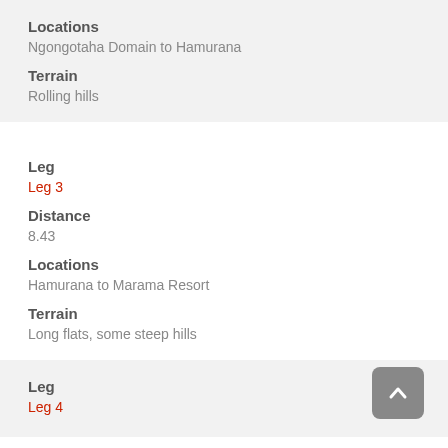Locations
Ngongotaha Domain to Hamurana
Terrain
Rolling hills
Leg
Leg 3
Distance
8.43
Locations
Hamurana to Marama Resort
Terrain
Long flats, some steep hills
Leg
Leg 4